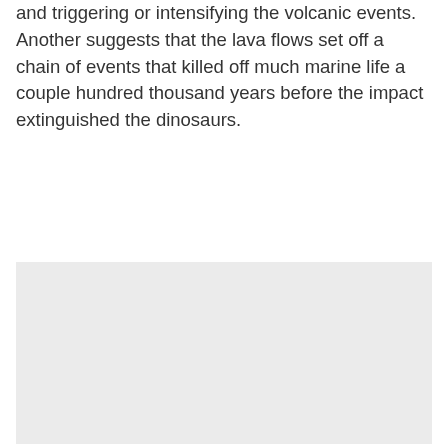and triggering or intensifying the volcanic events. Another suggests that the lava flows set off a chain of events that killed off much marine life a couple hundred thousand years before the impact extinguished the dinosaurs.
[Figure (photo): A large light grey/silver rectangular image placeholder occupying the lower portion of the page.]